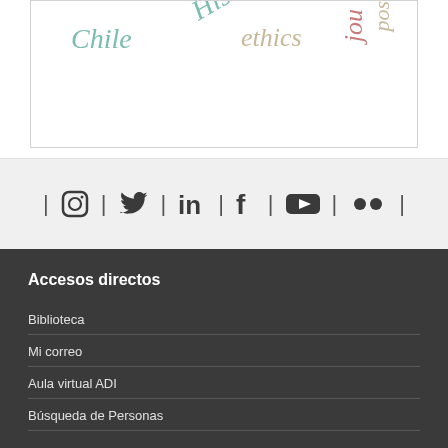[Figure (other): Word cloud showing terms: Chile, His(tory), ethics, jou(rnal), pos(t) in various colors and orientations]
[Figure (other): Social media icons bar: Instagram, Twitter, LinkedIn, Facebook, YouTube, Flickr]
Accesos directos
Biblioteca
Mi correo
Aula virtual ADI
Búsqueda de Personas